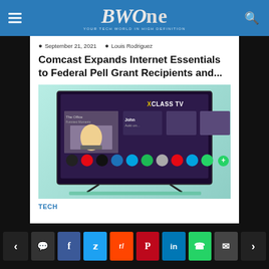BWOne — YOUR TECH WORLD IN HIGH DEFINITION
September 21, 2021  Louis Rodriguez
Comcast Expands Internet Essentials to Federal Pell Grant Recipients and...
[Figure (photo): A smart TV on a stand with a teal/green background, displaying the XClass TV interface showing The Office and streaming app icons]
TECH
Navigation buttons: prev, comment, facebook, twitter, reddit, pinterest, linkedin, whatsapp, email, next